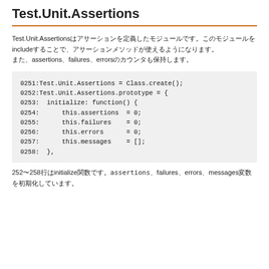Test.Unit.Assertions
Test.Unit.Assertions はアサーションを定義したモジュールです。
[Figure (screenshot): Code block showing JavaScript lines 0251-0258 defining Test.Unit.Assertions class with initialize function setting assertions, failures, errors, and messages properties.]
252〜258行はinitialize関数です。assertions、failures、errors、messages変数を初期化しています。